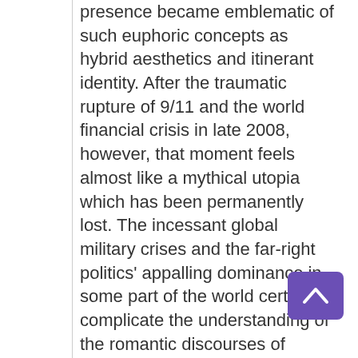presence became emblematic of such euphoric concepts as hybrid aesthetics and itinerant identity. After the traumatic rupture of 9/11 and the world financial crisis in late 2008, however, that moment feels almost like a mythical utopia which has been permanently lost. The incessant global military crises and the far-right politics' appalling dominance in some part of the world certainly complicate the understanding of the romantic discourses of hybridity and nomadism which marked the